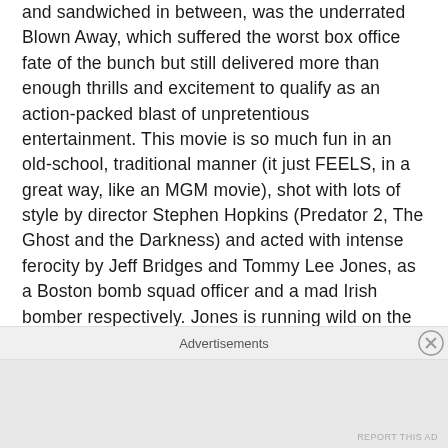and sandwiched in between, was the underrated Blown Away, which suffered the worst box office fate of the bunch but still delivered more than enough thrills and excitement to qualify as an action-packed blast of unpretentious entertainment. This movie is so much fun in an old-school, traditional manner (it just FEELS, in a great way, like an MGM movie), shot with lots of style by director Stephen Hopkins (Predator 2, The Ghost and the Darkness) and acted with intense ferocity by Jeff Bridges and Tommy Lee Jones, as a Boston bomb squad officer and a mad Irish bomber respectively. Jones is running wild on the streets of Boston, blowing up anything and everything he can find, all in an effort to exact revenge on his old friend Bridges, who both went through IRA/terrorist issues which are dealt with
Advertisements